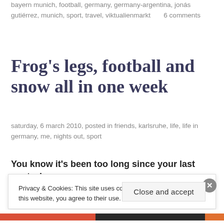bayern munich, football, germany, germany-argentina, jonás gutiérrez, munich, sport, travel, viktualienmarkt      6 comments
Frog's legs, football and snow all in one week
saturday, 6 march 2010, posted in friends, karlsruhe, life, life in germany, me, nights out, sport
You know it's been too long since your last post when
Privacy & Cookies: This site uses cookies. By continuing to use this website, you agree to their use.
To find out more, including how to control cookies, see here: Cookie Policy
Close and accept